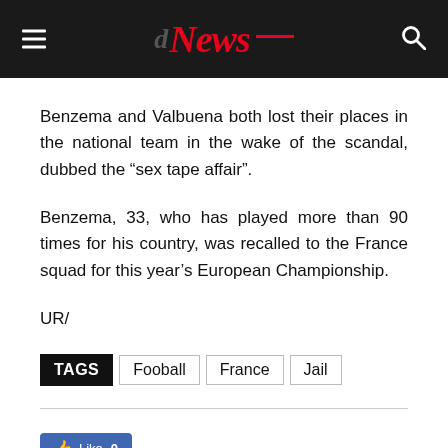News
Benzema and Valbuena both lost their places in the national team in the wake of the scandal, dubbed the “sex tape affair”.
Benzema, 33, who has played more than 90 times for his country, was recalled to the France squad for this year’s European Championship.
UR/
TAGS  Fooball  France  Jail
[Figure (other): Facebook Like button showing 0 likes]